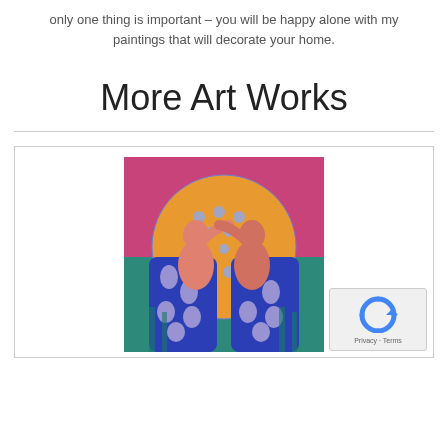only one thing is important – you will be happy alone with my paintings that will decorate your home.
More Art Works
[Figure (illustration): Painting of two figures in blue floral patterned dresses with pink skin tones against a teal background with a large orange/gold circular design. The two people are facing each other in an artistic, decorative style.]